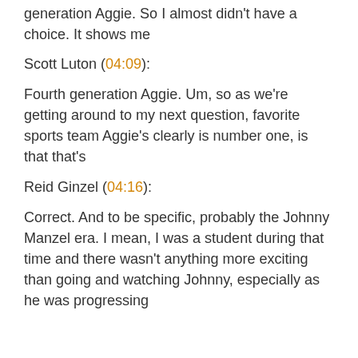generation Aggie. So I almost didn't have a choice. It shows me
Scott Luton (04:09):
Fourth generation Aggie. Um, so as we're getting around to my next question, favorite sports team Aggie's clearly is number one, is that that's
Reid Ginzel (04:16):
Correct. And to be specific, probably the Johnny Manzel era. I mean, I was a student during that time and there wasn't anything more exciting than going and watching Johnny, especially as he was progressing